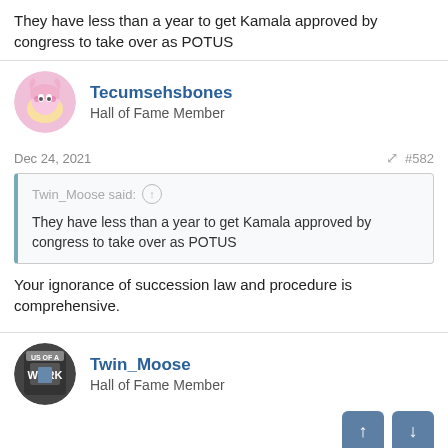They have less than a year to get Kamala approved by congress to take over as POTUS
Tecumsehsbones
Hall of Fame Member
Dec 24, 2021  #582
Twin_Moose said: ↑
They have less than a year to get Kamala approved by congress to take over as POTUS
Your ignorance of succession law and procedure is comprehensive.
Twin_Moose
Hall of Fame Member
Dec 24, 2021  #583